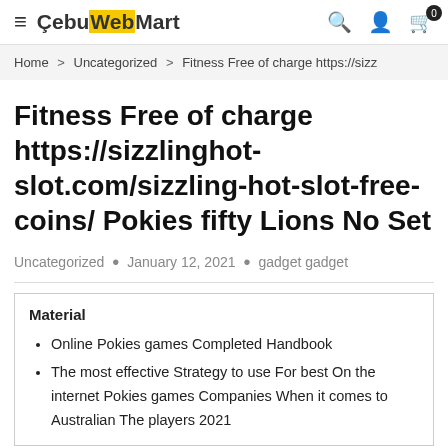CebuWebMart
Home > Uncategorized > Fitness Free of charge https://sizz
Fitness Free of charge https://sizzlinghot-slot.com/sizzling-hot-slot-free-coins/ Pokies fifty Lions No Set
Uncategorized • January 12, 2021 • gadget gadget
Material
Online Pokies games Completed Handbook
The most effective Strategy to use For best On the internet Pokies games Companies When it comes to Australian The players 2021